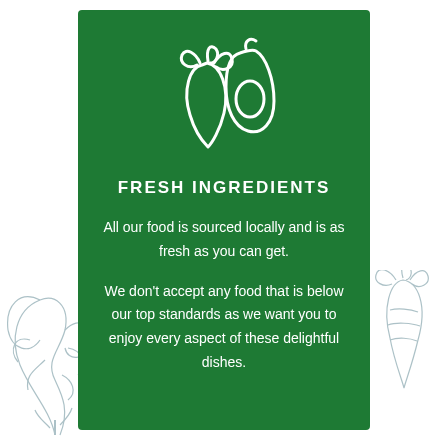[Figure (illustration): White line-art icon of a carrot and avocado (halved, showing pit) on green background]
FRESH INGREDIENTS
All our food is sourced locally and is as fresh as you can get.

We don't accept any food that is below our top standards as we want you to enjoy every aspect of these delightful dishes.
[Figure (illustration): Decorative hand-drawn sketch of leafy vegetables on the left side of the card]
[Figure (illustration): Decorative hand-drawn sketch of a carrot on the right side of the card]